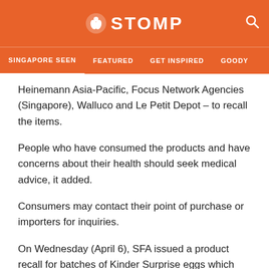STOMP
SINGAPORE SEEN  FEATURED  GET INSPIRED  GOODY
Heinemann Asia-Pacific, Focus Network Agencies (Singapore), Walluco and Le Petit Depot – to recall the items.
People who have consumed the products and have concerns about their health should seek medical advice, it added.
Consumers may contact their point of purchase or importers for inquiries.
On Wednesday (April 6), SFA issued a product recall for batches of Kinder Surprise eggs which have a best-before date of between July 11 and Oct 7 this year.